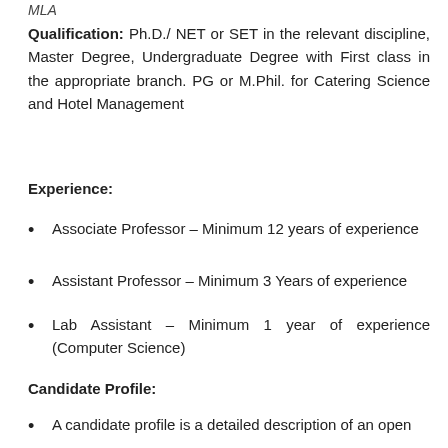MLA
Qualification: Ph.D./ NET or SET in the relevant discipline, Master Degree, Undergraduate Degree with First class in the appropriate branch. PG or M.Phil. for Catering Science and Hotel Management
Experience:
Associate Professor – Minimum 12 years of experience
Assistant Professor – Minimum 3 Years of experience
Lab Assistant – Minimum 1 year of experience (Computer Science)
Candidate Profile:
A candidate profile is a detailed description of an open